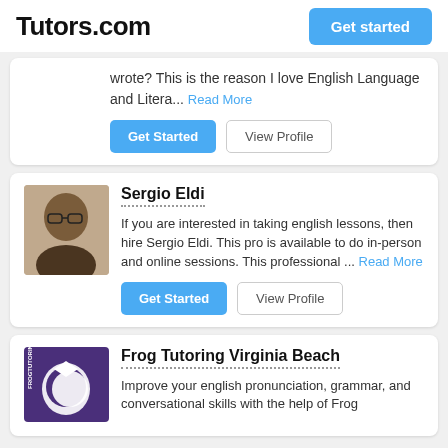Tutors.com | Get started
wrote? This is the reason I love English Language and Litera... Read More
Get Started | View Profile
Sergio Eldi
If you are interested in taking english lessons, then hire Sergio Eldi. This pro is available to do in-person and online sessions. This professional ... Read More
Get Started | View Profile
Frog Tutoring Virginia Beach
Improve your english pronunciation, grammar, and conversational skills with the help of Frog